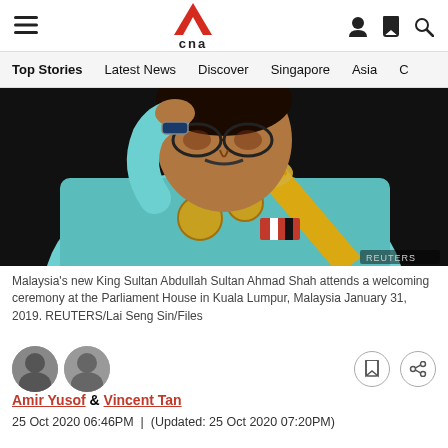CNA — Top Stories | Latest News | Discover | Singapore | Asia
[Figure (photo): Malaysia's new King Sultan Abdullah Sultan Ahmad Shah in a light blue ceremonial outfit with gold chains and decorations, saluting, with a dark background. REUTERS watermark visible.]
Malaysia's new King Sultan Abdullah Sultan Ahmad Shah attends a welcoming ceremony at the Parliament House in Kuala Lumpur, Malaysia January 31, 2019. REUTERS/Lai Seng Sin/Files
Amir Yusof & Vincent Tan
25 Oct 2020 06:46PM  |  (Updated: 25 Oct 2020 07:20PM)